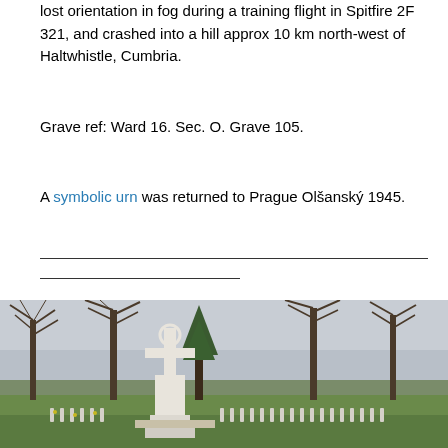lost orientation in fog during a training flight in Spitfire 2F 321, and crashed into a hill approx 10 km north-west of Haltwhistle, Cumbria.
Grave ref: Ward 16. Sec. O. Grave 105.
A symbolic urn was returned to Prague Olšanský 1945.
[Figure (photo): Photograph of a military cemetery with white stone cross monument in the foreground, rows of white headstones, green grass, and bare winter trees in the background under an overcast sky.]